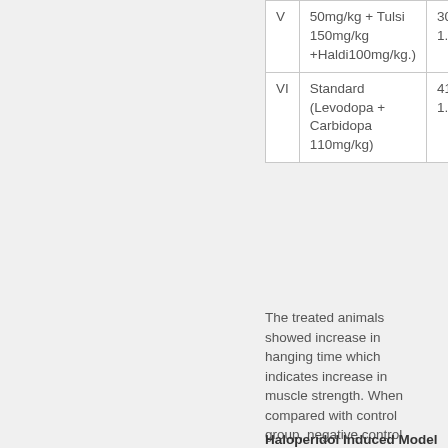| Group | Treatment | Value |
| --- | --- | --- |
| V | 50mg/kg + Tulsi 150mg/kg +Haldi100mg/kg.) | 30.89± 1.528 |
| VI | Standard (Levodopa + Carbidopa 110mg/kg) | 41.52± 1.696 |
The treated animals showed increase in hanging time which indicates increase in muscle strength. When compared with control group, negative control showed more significant (P < 0.001) variation and reduction of hanging time. When compared with negative control, formulation I, II, III and standard showed significant (P < 0.001) increase in hanging time (Table 9).
Haloperidol Induced Model